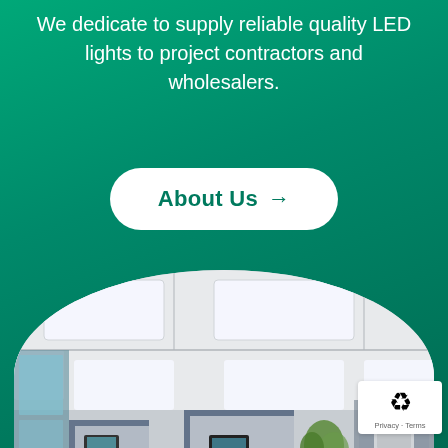We dedicate to supply reliable quality LED lights to project contractors and wholesalers.
About Us →
[Figure (photo): Office interior with LED panel lights installed in a suspended ceiling, showing workstations with cubicle dividers and a plant in the background. Circular/oval cropped image.]